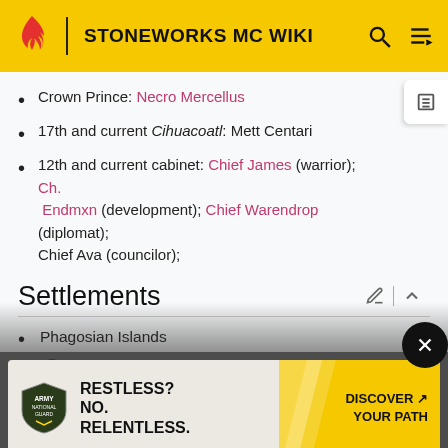STONEWORKS MC WIKI
Crown Prince: Necro Mercellus
17th and current Cihuacoatl: Mett Centari
12th and current cabinet: Chief James (warrior); Ch. Endmxn (development); Chief Warendrop (diplomat); Chief Ava (councilor);
Settlements
Phagosian Islands
Tlahatl (capital)
Mistwatch
Drinomia
Dande Land
[Figure (screenshot): Army National Guard advertisement banner: RESTLESS? NO. RELENTLESS. DISCOVER YOUR PATH]